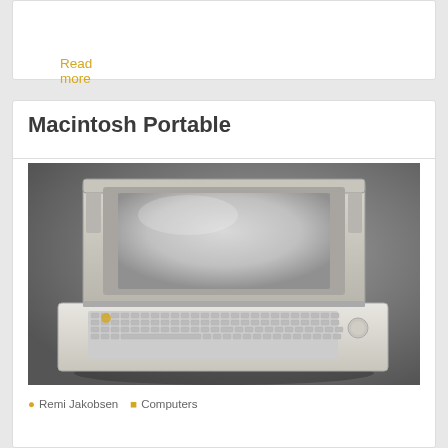Read more
Macintosh Portable
[Figure (photo): Photograph of a Macintosh Portable laptop computer, open, showing its keyboard and screen, on a grey gradient background.]
Remi Jakobsen   Computers